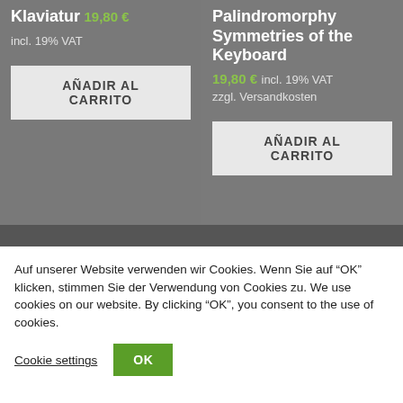Klaviatur
19,80 €
incl. 19% VAT
AÑADIR AL CARRITO
Palindromorphy Symmetries of the Keyboard
19,80 €
incl. 19% VAT
zzgl. Versandkosten
AÑADIR AL CARRITO
Auf unserer Website verwenden wir Cookies. Wenn Sie auf "OK" klicken, stimmen Sie der Verwendung von Cookies zu. We use cookies on our website. By clicking "OK", you consent to the use of cookies.
Cookie settings
OK